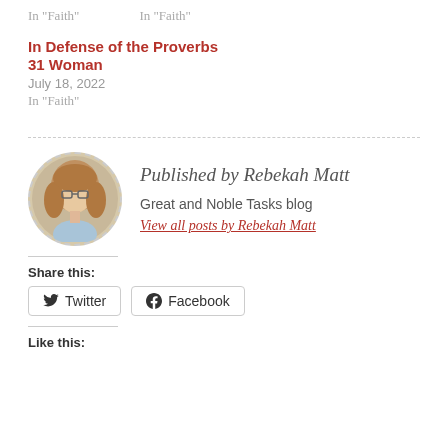In "Faith"
In "Faith"
In Defense of the Proverbs 31 Woman
July 18, 2022
In "Faith"
[Figure (photo): Circular portrait photo of Rebekah Matt, a woman with long light brown hair and glasses, with a dashed circular border]
Published by Rebekah Matt
Great and Noble Tasks blog
View all posts by Rebekah Matt
Share this:
Twitter
Facebook
Like this: